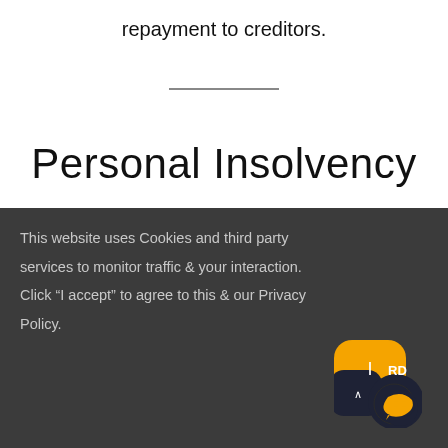repayment to creditors.
Personal Insolvency
This website uses Cookies and third party services to monitor traffic & your interaction. Click “I accept” to agree to this & our Privacy Policy.
[Figure (illustration): Cookie consent overlay with dark background, orange/dark chat icon in bottom right corner]